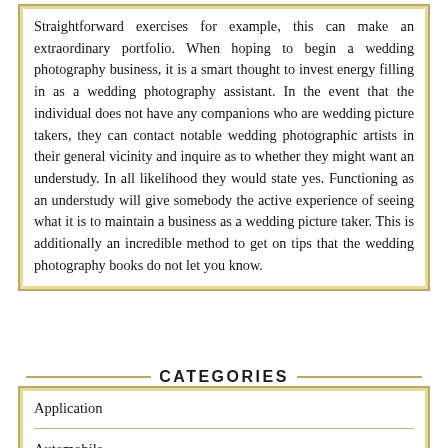Straightforward exercises for example, this can make an extraordinary portfolio. When hoping to begin a wedding photography business, it is a smart thought to invest energy filling in as a wedding photography assistant. In the event that the individual does not have any companions who are wedding picture takers, they can contact notable wedding photographic artists in their general vicinity and inquire as to whether they might want an understudy. In all likelihood they would state yes. Functioning as an understudy will give somebody the active experience of seeing what it is to maintain a business as a wedding picture taker. This is additionally an incredible method to get on tips that the wedding photography books do not let you know.
CATEGORIES
Application
Automobile